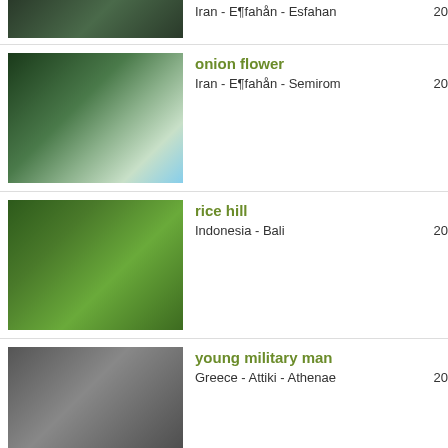Iran - E¶fahån - Esfahan | 20
onion flower | Iran - E¶fahån - Semirom | 20
rice hill | Indonesia - Bali | 20
young military man | Greece - Attiki - Athenae | 20
bazzar | Iran - E¶fahån - Esfahan | 20
twin tower | Malaysia - Wilayah Persekutuan - Kuala Lumpur | 20
carpet store | Iran - E¶fahån - Esfahan | 20